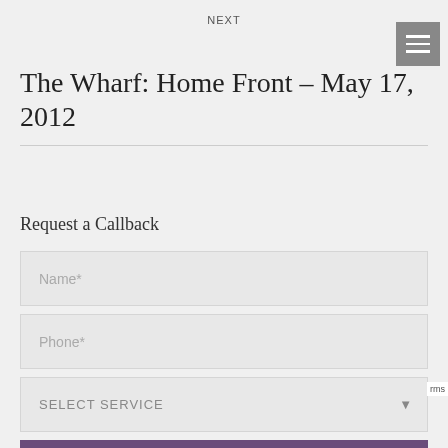NEXT
The Wharf: Home Front – May 17, 2012
Request a Callback
Name*
Phone*
SELECT SERVICE
REQUEST A CALL